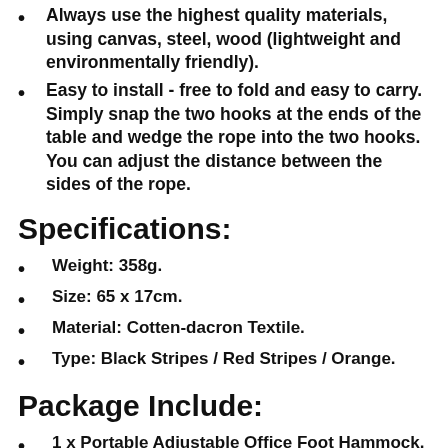Always use the highest quality materials, using canvas, steel, wood (lightweight and environmentally friendly).
Easy to install - free to fold and easy to carry. Simply snap the two hooks at the ends of the table and wedge the rope into the two hooks. You can adjust the distance between the sides of the rope.
Specifications:
Weight: 358g.
Size: 65 x 17cm.
Material: Cotten-dacron Textile.
Type: Black Stripes / Red Stripes / Orange.
Package Include:
1 x Portable Adjustable Office Foot Hammock.
Notes: